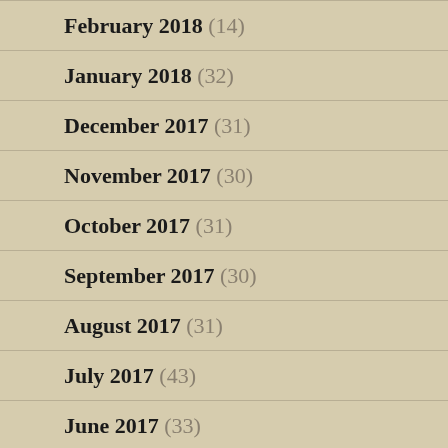February 2018 (14)
January 2018 (32)
December 2017 (31)
November 2017 (30)
October 2017 (31)
September 2017 (30)
August 2017 (31)
July 2017 (43)
June 2017 (33)